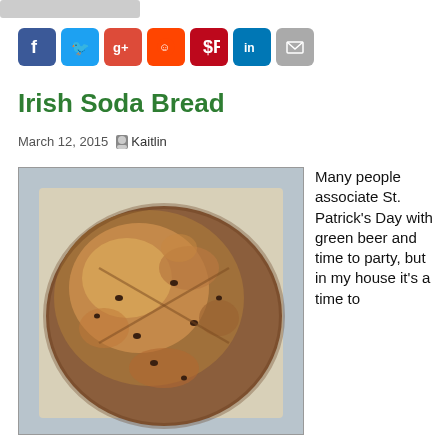[Figure (other): Rounded gray bar/button at top of page]
[Figure (other): Social media sharing icons row: Facebook, Twitter, Google+, Reddit, Pinterest, LinkedIn, Email]
Irish Soda Bread
March 12, 2015   Kaitlin
[Figure (photo): Overhead photo of a round Irish soda bread loaf with raisins on a parchment-lined baking sheet]
Many people associate St. Patrick's Day with green beer and time to party, but in my house it's a time to